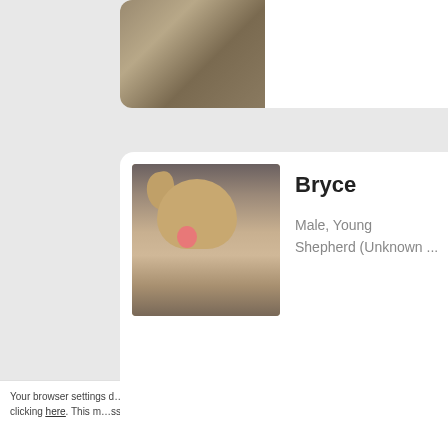[Figure (photo): Partial card showing top portion of a photo with brown/tan ground texture, cut off at top of page]
[Figure (photo): Photo of a young golden/tan Shepherd dog named Bryce, sitting and looking at camera with tongue out, on a dirt/gravel background]
Bryce
Male, Young
Shepherd (Unknown ...
[Figure (photo): Partial card showing bottom portion of a room interior with a fireplace and warm lighting]
This website stores data such as cookies to enable necessary site functions, including analytics, targeting and personalization. By remaining on this website you indicate your consent.
Cookie Policy
Your browser settings d… AdRoll to use cross-site… by clicking here. This m…ssage only appears once.